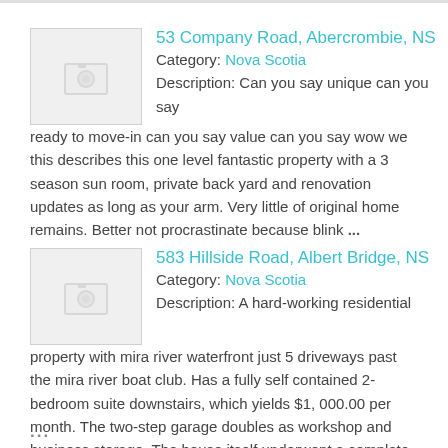[Figure (photo): Placeholder thumbnail image with camera icon for 53 Company Road listing]
53 Company Road, Abercrombie, NS
Category: Nova Scotia
Description: Can you say unique can you say ready to move-in can you say value can you say wow we this describes this one level fantastic property with a 3 season sun room, private back yard and renovation updates as long as your arm. Very little of original home remains. Better not procrastinate because blink ...
[Figure (photo): Placeholder thumbnail image with camera icon for 583 Hillside Road listing]
583 Hillside Road, Albert Bridge, NS
Category: Nova Scotia
Description: A hard-working residential property with mira river waterfront just 5 driveways past the mira river boat club. Has a fully self contained 2-bedroom suite downstairs, which yields $1, 000.00 per month. The two-step garage doubles as workshop and business storage. The house itself underwent a complete